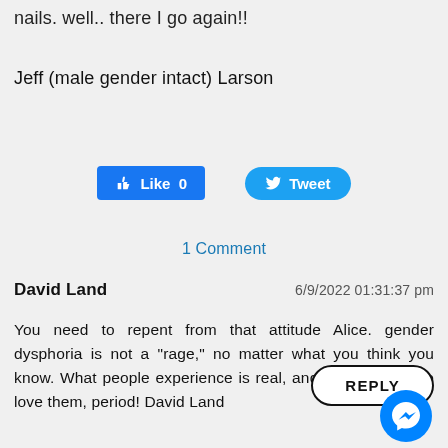nails. well.. there I go again!!
Jeff (male gender intact) Larson
[Figure (other): Facebook Like button showing 0 likes and a Twitter Tweet button]
1 Comment
David Land
6/9/2022 01:31:37 pm
You need to repent from that attitude Alice. gender dysphoria is not a "rage," no matter what you think you know. What people experience is real, and we just need to love them, period! David Land
[Figure (other): REPLY button with rounded rectangle border]
[Figure (other): Messenger app icon — blue circle with lightning bolt]